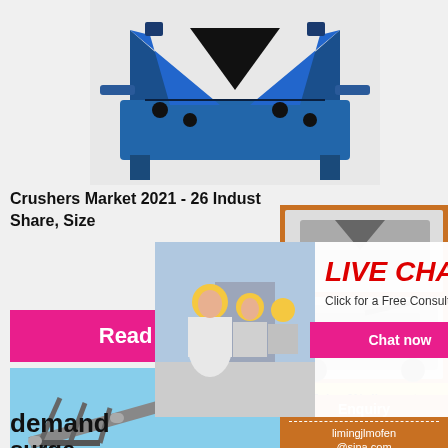[Figure (photo): Blue industrial rock crusher machine photographed against white background]
Crushers Market 2021 - 26 Industry Share, Size
[Figure (photo): Live chat popup overlay showing workers in yellow hard hats with text LIVE CHAT and Click for a Free Consultation, with Chat now and Chat later buttons]
Read More
[Figure (photo): Orange sidebar with small machinery photos, Enjoy 3% discount banner, Click to Chat button, Enquiry section, and limingjlmofen@sina.com email]
[Figure (photo): Conveyor belt structure at industrial site photographed against blue sky]
demand
surge